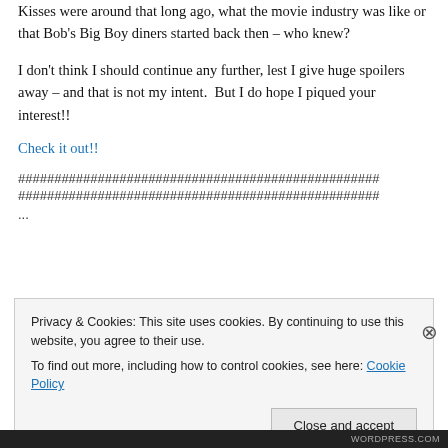Kisses were around that long ago, what the movie industry was like or that Bob's Big Boy diners started back then – who knew?
I don't think I should continue any further, lest I give huge spoilers away – and that is not my intent.  But I do hope I piqued your interest!!
Check it out!!
##################################################
##################################################
...
Privacy & Cookies: This site uses cookies. By continuing to use this website, you agree to their use.
To find out more, including how to control cookies, see here: Cookie Policy